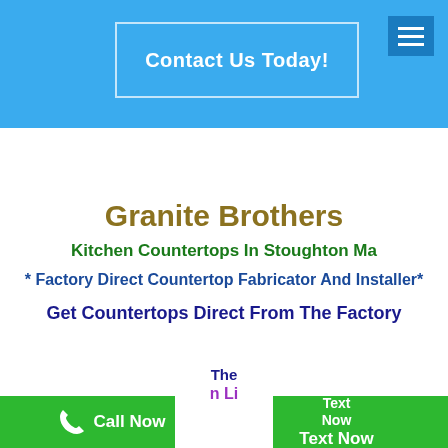Contact Us Today!
Granite Brothers
Kitchen Countertops In Stoughton Ma
* Factory Direct Countertop Fabricator And Installer*
Get Countertops Direct From The Factory And Get The Best Pri...
Call Now   Text Now Text Now